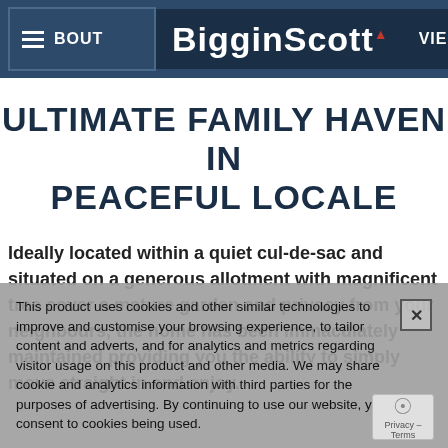[Figure (screenshot): BigginScott real estate website navigation bar with hamburger menu, ABOUT text, BigginScott logo, VIE navigation item, and search icon on dark navy background]
ULTIMATE FAMILY HAVEN IN PEACEFUL LOCALE
Ideally located within a quiet cul-de-sac and situated on a generous allotment with magnificent tree cover a mature garden and privacy from your neighbours, the home has been immaculately maintained providing you the ability to simply move straight in and enjoy.
This product uses cookies and other similar technologies to improve and customise your browsing experience, to tailor content and adverts, and for analytics and metrics regarding visitor usage on this product and other media. We may share cookie and analytics information with third parties for the purposes of advertising. By continuing to use our website, you consent to cookies being used.